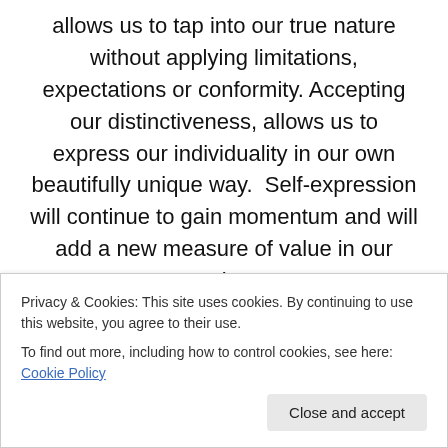allows us to tap into our true nature without applying limitations, expectations or conformity. Accepting our distinctiveness, allows us to express our individuality in our own beautifully unique way.  Self-expression will continue to gain momentum and will add a new measure of value in our society.
This theme of “Be Yourself” Swarovski has translated this desire into crystal innovations reflecting four aspects of self-discovery:
“Check Yourself” “Find Yourself” “Express Yourself”
Privacy & Cookies: This site uses cookies. By continuing to use this website, you agree to their use.
To find out more, including how to control cookies, see here: Cookie Policy